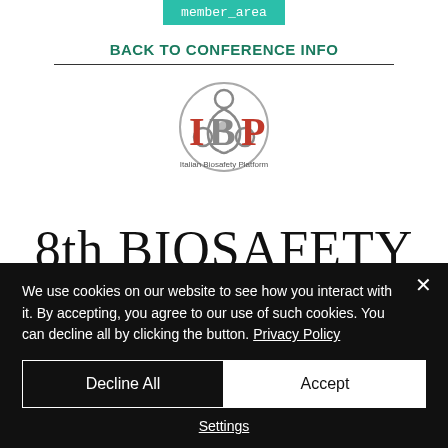member_area
BACK TO CONFERENCE INFO
[Figure (logo): IBP Italian Biosafety Platform logo — red and gray lettering I B P with biohazard symbol, tagline 'Italian Biosafety Platform']
8th BIOSAFETY
We use cookies on our website to see how you interact with it. By accepting, you agree to our use of such cookies. You can decline all by clicking the button. Privacy Policy
Decline All
Accept
Settings